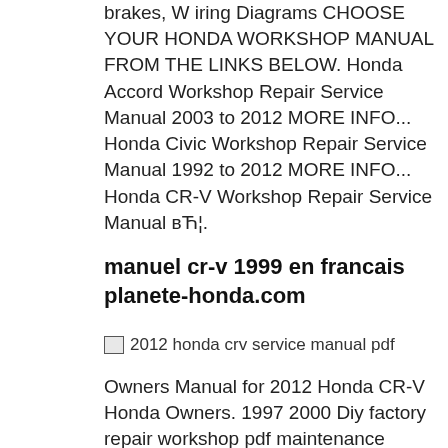brakes, W iring Diagrams CHOOSE YOUR HONDA WORKSHOP MANUAL FROM THE LINKS BELOW. Honda Accord Workshop Repair Service Manual 2003 to 2012 MORE INFO... Honda Civic Workshop Repair Service Manual 1992 to 2012 MORE INFO... Honda CR-V Workshop Repair Service Manual вЋ¦.
manuel cr-v 1999 en francais planete-honda.com
[Figure (other): Broken image placeholder labeled '2012 honda crv service manual pdf']
Owners Manual for 2012 Honda CR-V Honda Owners. 1997 2000 Diy factory repair workshop pdf maintenance manual-honda cr-v cr-v 97 98 99 00